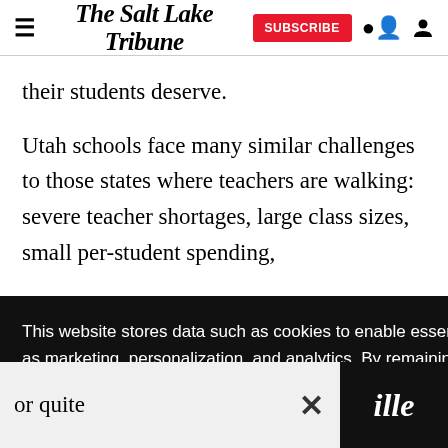The Salt Lake Tribune — SUBSCRIBE
their students deserve.
Utah schools face many similar challenges to those states where teachers are walking: severe teacher shortages, large class sizes, small per-student spending, why are we he steps of or quite
This website stores data such as cookies to enable essential site functionality, as well as marketing, personalization, and analytics. By remaining on this website you indicate your consent.
Data Storage Policy
ille